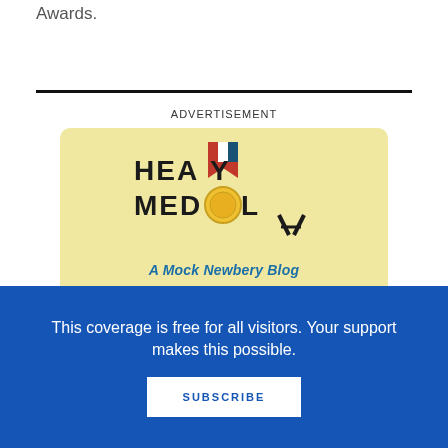Awards.
ADVERTISEMENT
[Figure (logo): Heavy Medal: A Mock Newbery Blog advertisement. Yellow background with the text HEAVY MEDAL in bold black block letters with a medal icon replacing the O in MEDAL, and a ribbon at the top. Subtitle reads: A Mock Newbery Blog. Below: Join the discussion on School Library...]
This coverage is free for all visitors. Your support makes this possible.
SUBSCRIBE